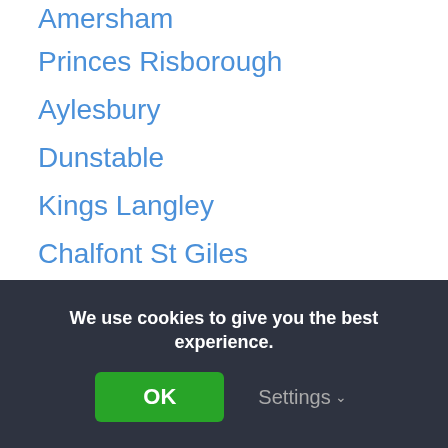Amersham
Princes Risborough
Aylesbury
Dunstable
Kings Langley
Chalfont St Giles
High Wycombe
Abbots Langley
Rickmansworth
Luton
We use cookies to give you the best experience.
OK
Settings